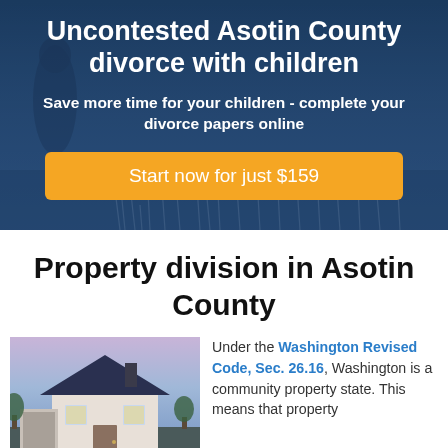Uncontested Asotin County divorce with children
Save more time for your children - complete your divorce papers online
Start now for just $159
Property division in Asotin County
[Figure (photo): Photo of a house at dusk with purple and blue sky]
Under the Washington Revised Code, Sec. 26.16, Washington is a community property state. This means that property